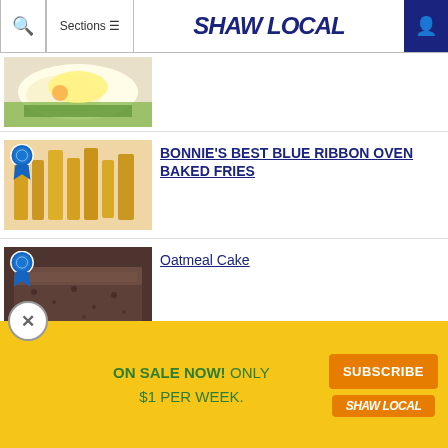Shaw Local
[Figure (photo): Partial view of a food dish - scrambled eggs or similar food on a plate with greens]
[Figure (photo): Oven baked french fries on a plate with a blue ribbon award badge overlay]
BONNIE'S BEST BLUE RIBBON OVEN BAKED FRIES
[Figure (photo): Oatmeal cake slice with a blue ribbon award badge overlay]
Oatmeal Cake
[Figure (photo): Partial view of another food article thumbnail]
ON SALE NOW! ONLY $1 PER WEEK.
SUBSCRIBE
SHAW LOCAL